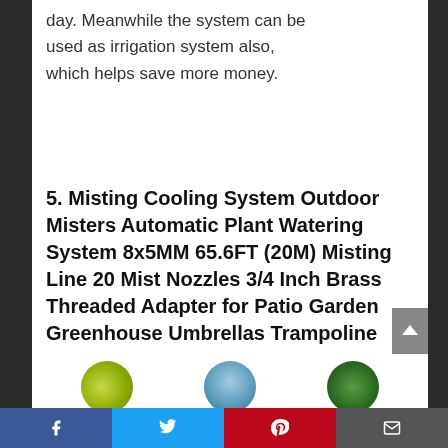day. Meanwhile the system can be used as irrigation system also, which helps save more money.
5. Misting Cooling System Outdoor Misters Automatic Plant Watering System 8x5MM 65.6FT (20M) Misting Line 20 Mist Nozzles 3/4 Inch Brass Threaded Adapter for Patio Garden Greenhouse Umbrellas Trampoline
[Figure (photo): Three circular thumbnail images at bottom of page]
Facebook | Twitter | Pinterest | Email social share bar